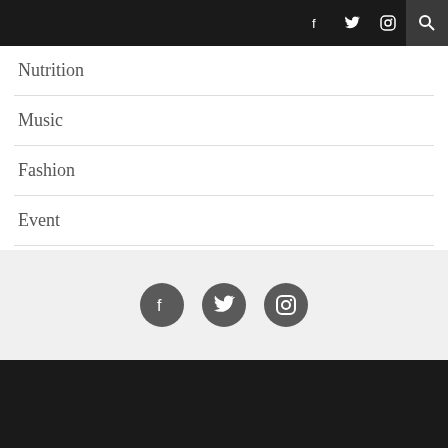Social icons: Facebook, Twitter, Instagram; Search icon
Nutrition
Music
Fashion
Event
People
[Figure (infographic): Three circular social media icons: Facebook, Twitter, Instagram on a light grey background]
Dark footer bar